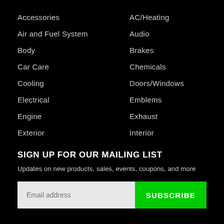Accessories
AC/Heating
Air and Fuel System
Audio
Body
Brakes
Car Care
Chemicals
Cooling
Doors/Windows
Electrical
Emblems
Engine
Exhaust
Exterior
Interior
SIGN UP FOR OUR MAILING LIST
Updates on new products, sales, events, coupons, and more